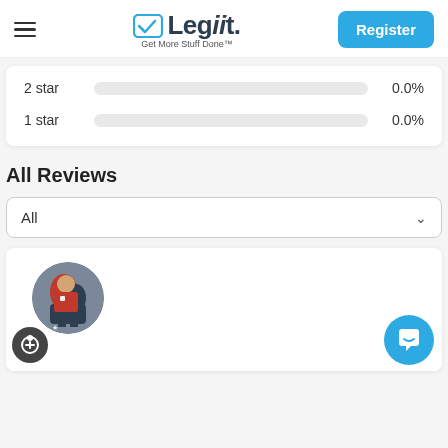[Figure (logo): Legiit logo with checkmark icon and tagline 'Get More Stuff Done']
2 star  0.0%
1 star  0.0%
All Reviews
All
[Figure (photo): Circular reviewer avatar photo showing a person in sports/action setting]